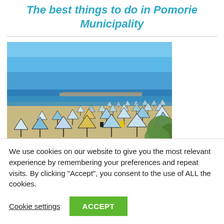The best things to do in Pomorie Municipality
[Figure (photo): Beach with many sun umbrellas on sandy shore, blue sea and clear sky in background, some green vegetation on the right]
We use cookies on our website to give you the most relevant experience by remembering your preferences and repeat visits. By clicking “Accept”, you consent to the use of ALL the cookies.
Cookie settings   ACCEPT